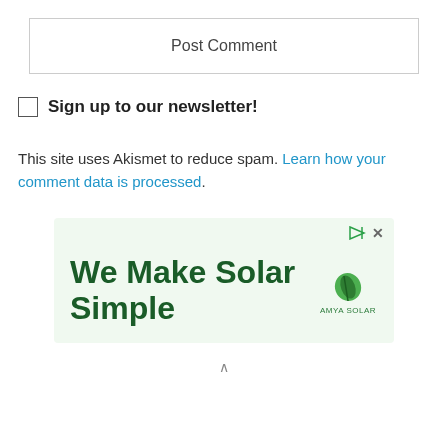Post Comment
Sign up to our newsletter!
This site uses Akismet to reduce spam. Learn how your comment data is processed.
[Figure (other): Advertisement banner with light green background. Text reads 'We Make Solar Simple' in dark green bold font, with a small green leaf logo and brand name 'AMYA SOLAR' on the right side. Top-right corner shows a play icon and an X button.]